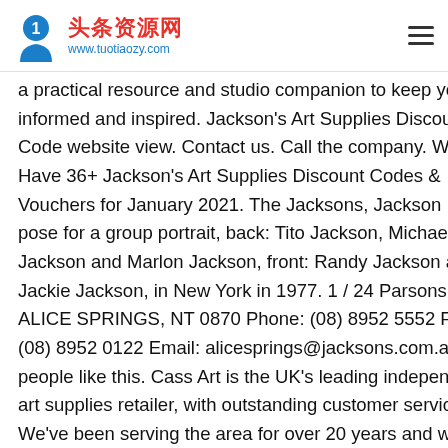头条资源网 www.tuotiaozy.com
a practical resource and studio companion to keep you informed and inspired. Jackson's Art Supplies Discount Code website view. Contact us. Call the company. We Have 36+ Jackson's Art Supplies Discount Codes & Vouchers for January 2021. The Jacksons, Jackson Five pose for a group portrait, back: Tito Jackson, Michael Jackson and Marlon Jackson, front: Randy Jackson and Jackie Jackson, in New York in 1977. 1 / 24 Parsons St ALICE SPRINGS, NT 0870 Phone: (08) 8952 5552 Fax: (08) 8952 0122 Email: alicesprings@jacksons.com.au 308 people like this. Cass Art is the UK's leading independent art supplies retailer, with outstanding customer service. We've been serving the area for over 20 years and we are